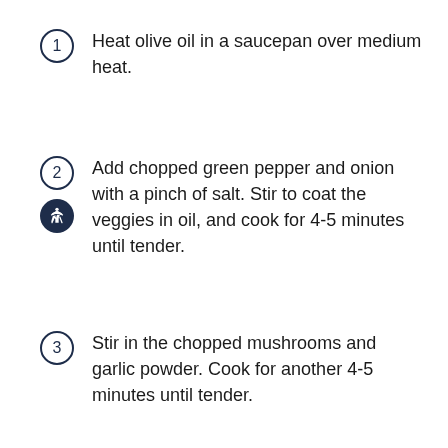1. Heat olive oil in a saucepan over medium heat.
2. Add chopped green pepper and onion with a pinch of salt. Stir to coat the veggies in oil, and cook for 4-5 minutes until tender.
3. Stir in the chopped mushrooms and garlic powder. Cook for another 4-5 minutes until tender.